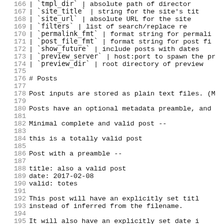166 | `tmpl_dir` | absolute path of director
167 | `site_title` | string for the site's tit
168 | `site_url` | absolute URL for the site
169 | `filters` | list of search/replace re
170 | `permalink_fmt` | format string for permali
171 | `post_file_fmt` | format string for post fi
172 | `show_future` | include posts with dates
173 | `preview_server` | host:port to spawn the pr
174 | `preview_dir` | root directory of preview
175
176 # Posts
177
178 Post inputs are stored as plain text files. (M
179
180 Posts have an optional metadata preamble, and
181
182 Minimal complete and valid post --
183
184     this is a totally valid post
185
186 Post with a preamble --
187
188     title: also a valid post
189     date: 2017-02-08
190     valid: totes
191
192     This post will have an explicitly set titl
193     instead of inferred from the filename.
194
195     It will also have an explicitly set date i